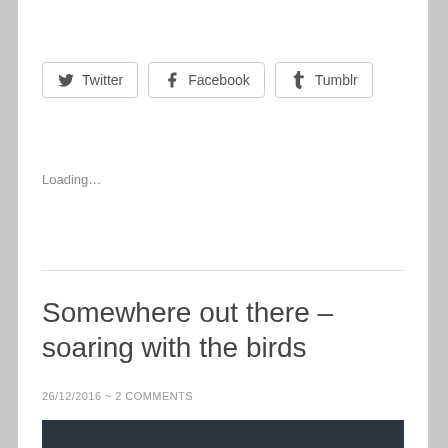[Figure (other): Social sharing buttons for Twitter, Facebook, and Tumblr]
Loading...
Somewhere out there – soaring with the birds
26/12/2016 ~ 2 COMMENTS
[Figure (photo): Dark/night sky photograph, partially visible at bottom of page]